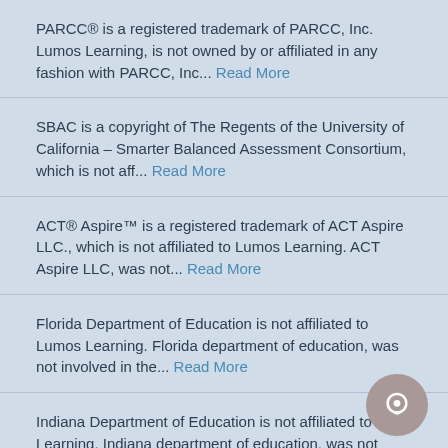PARCC® is a registered trademark of PARCC, Inc. Lumos Learning, is not owned by or affiliated in any fashion with PARCC, Inc... Read More
SBAC is a copyright of The Regents of the University of California – Smarter Balanced Assessment Consortium, which is not aff... Read More
ACT® Aspire™ is a registered trademark of ACT Aspire LLC., which is not affiliated to Lumos Learning. ACT Aspire LLC, was not... Read More
Florida Department of Education is not affiliated to Lumos Learning. Florida department of education, was not involved in the... Read More
Indiana Department of Education is not affiliated to Lumos Learning. Indiana department of education, was not involved